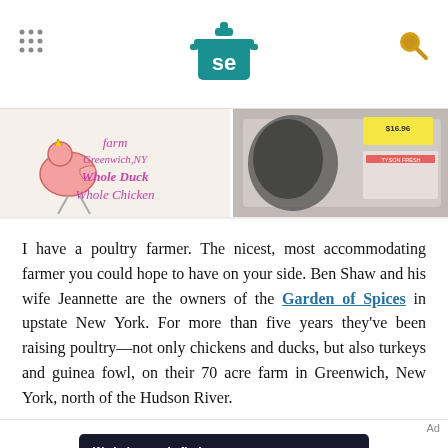Serious Eats logo header with navigation dots and search icon
[Figure (photo): Two-panel photo strip: left panel shows a sign with a chicken drawing reading 'farm Greenwich, NY Whole Duck Whole Chicken'; right panel shows packaged poultry meat with price label.]
I have a poultry farmer. The nicest, most accommodating farmer you could hope to have on your side. Ben Shaw and his wife Jeannette are the owners of the Garden of Spices in upstate New York. For more than five years they've been raising poultry—not only chickens and ducks, but also turkeys and guinea fowl, on their 70 acre farm in Greenwich, New York, north of the Hudson River.
Ad
[Figure (logo): Dotdash Meredith advertisement banner with text 'We help people find answers, solve problems and get inspired.' alongside the Dotdash Meredith logo.]